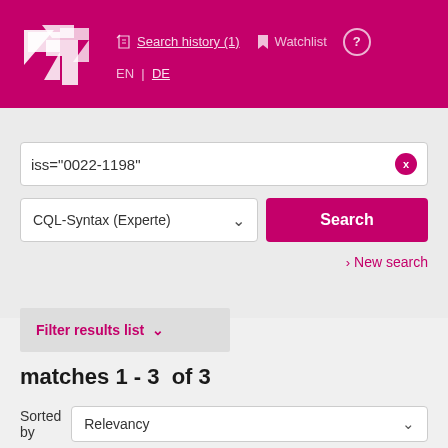[Figure (logo): ZDB logo – white overlapping angular letter shapes on magenta/pink background]
Search history (1)   Watchlist   ?   EN | DE
iss="0022-1198"
CQL-Syntax (Experte)
Search
> New search
Filter results list
matches 1 - 3  of 3
Sorted by   Relevancy